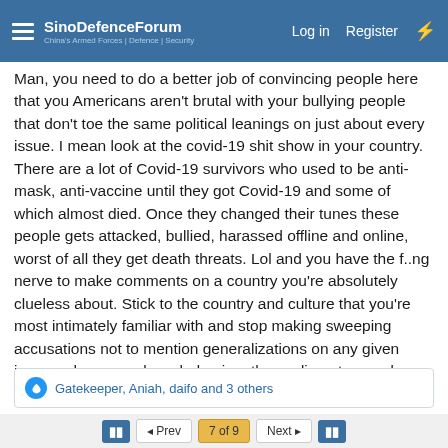SinoDefenceForum — Log in | Register
Man, you need to do a better job of convincing people here that you Americans aren't brutal with your bullying people that don't toe the same political leanings on just about every issue. I mean look at the covid-19 shit show in your country. There are a lot of Covid-19 survivors who used to be anti-mask, anti-vaccine until they got Covid-19 and some of which almost died. Once they changed their tunes these people gets attacked, bullied, harassed offline and online, worst of all they get death threats. Lol and you have the f..ng nerve to make comments on a country you're absolutely clueless about. Stick to the country and culture that you're most intimately familiar with and stop making sweeping accusations not to mention generalizations on any given issues where your knowledge is rather rudimentary and or based entirely on ignorance.
Gatekeeper, Aniah, daifo and 3 others
Prev | 7 of 9 | Next